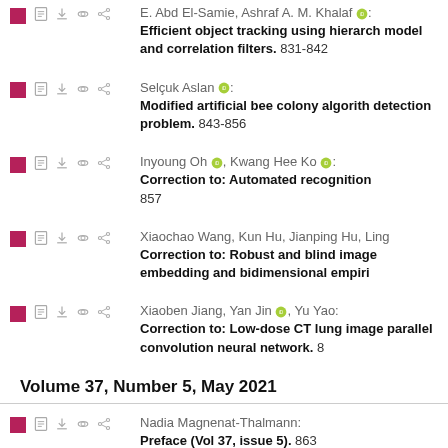E. Abd El-Samie, Ashraf A. M. Khalaf: Efficient object tracking using hierarchical model and correlation filters. 831-842
Selçuk Aslan: Modified artificial bee colony algorithm for detection problem. 843-856
Inyoung Oh, Kwang Hee Ko: Correction to: Automated recognition 857
Xiaochao Wang, Kun Hu, Jianping Hu, Ling: Correction to: Robust and blind image embedding and bidimensional empiric
Xiaoben Jiang, Yan Jin, Yu Yao: Correction to: Low-dose CT lung image parallel convolution neural network. 8
Volume 37, Number 5, May 2021
Nadia Magnenat-Thalmann: Preface (Vol 37, issue 5). 863